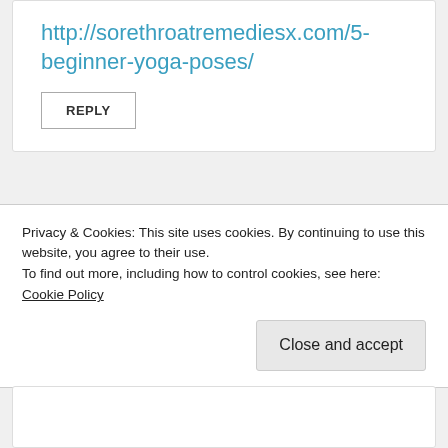http://sorethroatremediesx.com/5-beginner-yoga-poses/
REPLY
Yoga in Luzern
Privacy & Cookies: This site uses cookies. By continuing to use this website, you agree to their use.
To find out more, including how to control cookies, see here: Cookie Policy
Close and accept